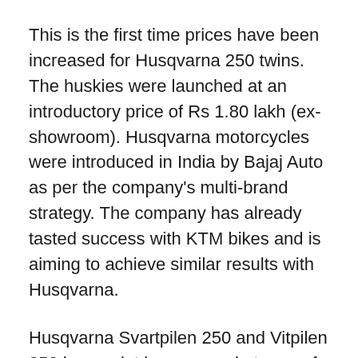This is the first time prices have been increased for Husqvarna 250 twins. The huskies were launched at an introductory price of Rs 1.80 lakh (ex-showroom). Husqvarna motorcycles were introduced in India by Bajaj Auto as per the company's multi-brand strategy. The company has already tasted success with KTM bikes and is aiming to achieve similar results with Husqvarna.
Husqvarna Svartpilen 250 and Vitpilen 250 have a lot in common in terms of design features and hardware. However, each one has certain distinctive features that give these bikes their unique character. The most obvious difference is in the name, Svartpilen and Vitpilen, which in Swedish means 'white arrow' and 'black arrow', respectively. This is evident in Svartpilen's dark paint job and Vitpilen's white colour.